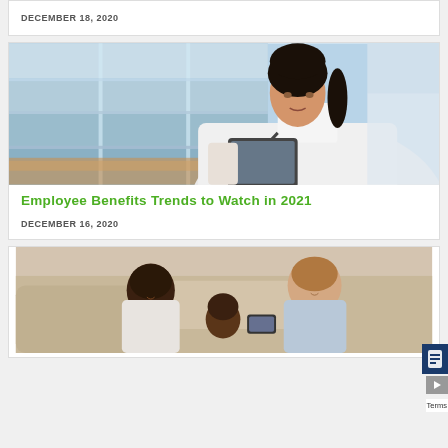DECEMBER 18, 2020
[Figure (photo): Female Asian doctor in white coat with stethoscope looking at a tablet device, seated near a window with city/office background]
Employee Benefits Trends to Watch in 2021
DECEMBER 16, 2020
[Figure (photo): Two adults (a Black woman and a white man) and a young child looking at a smartphone, seated on a couch]